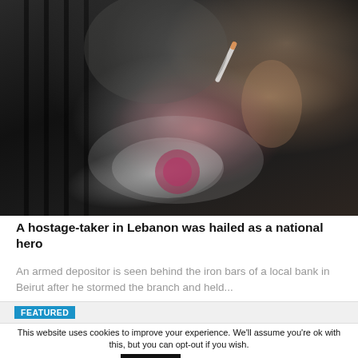[Figure (photo): A person with gray curly hair holding a cigarette, seen behind iron bars; smoke in foreground with a blurred pink/red object in the center. Dark, moody background.]
A hostage-taker in Lebanon was hailed as a national hero
An armed depositor is seen behind the iron bars of a local bank in Beirut after he stormed the branch and held...
FEATURED
This website uses cookies to improve your experience. We'll assume you're ok with this, but you can opt-out if you wish.
Accept   Read More